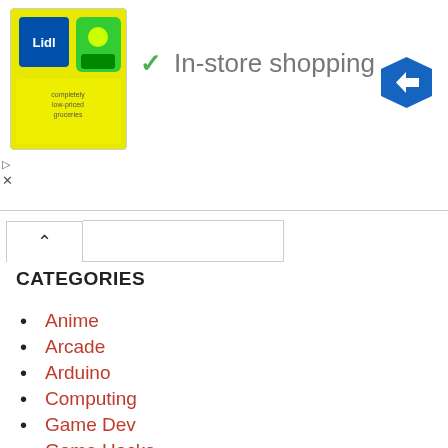[Figure (screenshot): Advertisement banner showing Lidl-branded image with 'In-store shopping' text and a checkmark, plus a navigation arrow icon on the right]
CATEGORIES
Anime
Arcade
Arduino
Computing
Game Dev
Game Hacks
Games
General
KanColle Kai
Programming